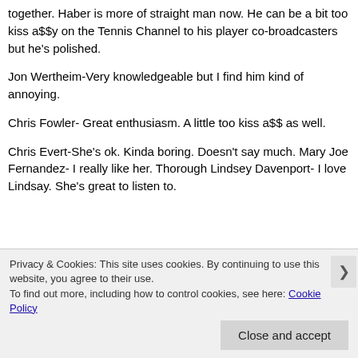together. Haber is more of straight man now. He can be a bit too kiss a$$y on the Tennis Channel to his player co-broadcasters but he's polished.
Jon Wertheim-Very knowledgeable but I find him kind of annoying.
Chris Fowler- Great enthusiasm. A little too kiss a$$ as well.
Chris Evert-She's ok. Kinda boring. Doesn't say much. Mary Joe Fernandez- I really like her. Thorough Lindsey Davenport- I love Lindsay. She's great to listen to.
Privacy & Cookies: This site uses cookies. By continuing to use this website, you agree to their use.
To find out more, including how to control cookies, see here: Cookie Policy